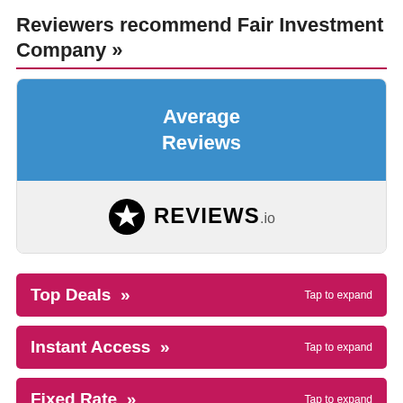Reviewers recommend Fair Investment Company »
[Figure (infographic): A card with a blue top section labeled 'Average Reviews' and a light gray bottom section showing the REVIEWS.io logo (star icon + REVIEWS.io text)]
Top Deals »  Tap to expand
Instant Access »  Tap to expand
Fixed Rate »  Tap to expand